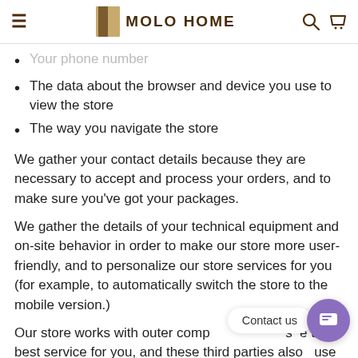MOLO HOME
Your phone number
The data about the browser and device you use to view the store
The way you navigate the store
We gather your contact details because they are necessary to accept and process your orders, and to make sure you've got your packages.
We gather the details of your technical equipment and on-site behavior in order to make our store more user-friendly, and to personalize our store services for you (for example, to automatically switch the store to the mobile version.)
Our store works with outer comp [Contact us] as e the best service for you, and these third parties also use some of the personal details you're leaving. We limit the